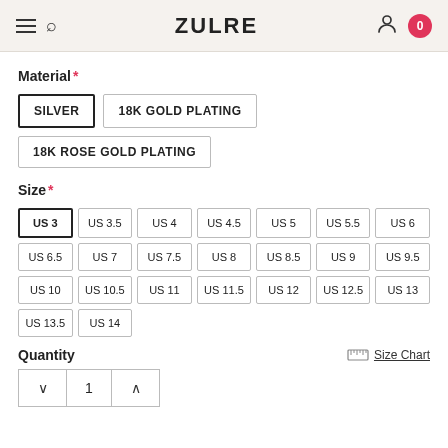ZULRE
Material *
SILVER (selected), 18K GOLD PLATING, 18K ROSE GOLD PLATING
Size *
US 3 (selected), US 3.5, US 4, US 4.5, US 5, US 5.5, US 6, US 6.5, US 7, US 7.5, US 8, US 8.5, US 9, US 9.5, US 10, US 10.5, US 11, US 11.5, US 12, US 12.5, US 13, US 13.5, US 14
Quantity
Size Chart
1